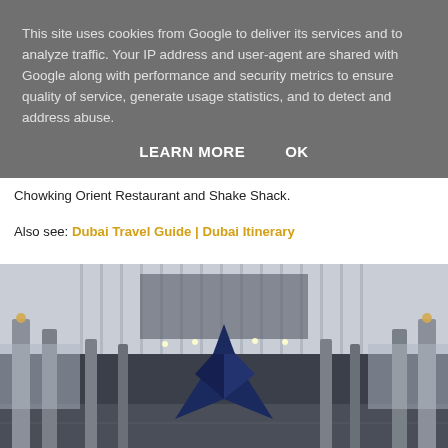This site uses cookies from Google to deliver its services and to analyze traffic. Your IP address and user-agent are shared with Google along with performance and security metrics to ensure quality of service, generate usage statistics, and to detect and address abuse.
LEARN MORE   OK
Chowking Orient Restaurant and Shake Shack.
Also see: Dubai Travel Guide | Dubai Itinerary
[Figure (photo): Interior of Dubai International Airport terminal corridor showing tall metallic columns, a curved ribbed ceiling with recessed lighting, and a blue geometric sculpture in the center background.]